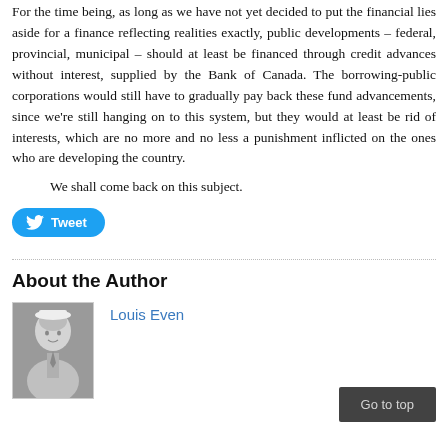For the time being, as long as we have not yet decided to put the financial lies aside for a finance reflecting realities exactly, public developments – federal, provincial, municipal – should at least be financed through credit advances without interest, supplied by the Bank of Canada. The borrowing-public corporations would still have to gradually pay back these fund advancements, since we're still hanging on to this system, but they would at least be rid of interests, which are no more and no less a punishment inflicted on the ones who are developing the country.
We shall come back on this subject.
[Figure (other): Twitter Tweet button with bird logo]
About the Author
[Figure (photo): Black and white portrait photo of Louis Even]
Louis Even